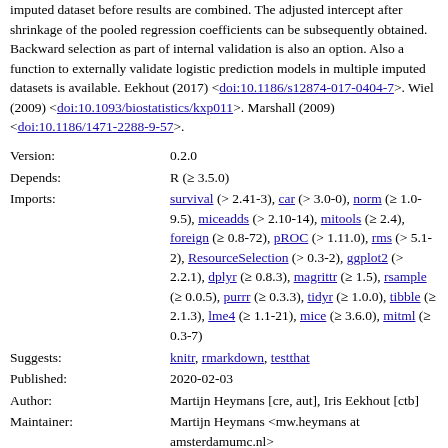imputed dataset before results are combined. The adjusted intercept after shrinkage of the pooled regression coefficients can be subsequently obtained. Backward selection as part of internal validation is also an option. Also a function to externally validate logistic prediction models in multiple imputed datasets is available. Eekhout (2017) <doi:10.1186/s12874-017-0404-7>. Wiel (2009) <doi:10.1093/biostatistics/kxp011>. Marshall (2009) <doi:10.1186/1471-2288-9-57>.
| Field | Value |
| --- | --- |
| Version: | 0.2.0 |
| Depends: | R (≥ 3.5.0) |
| Imports: | survival (> 2.41-3), car (> 3.0-0), norm (≥ 1.0-9.5), miceadds (> 2.10-14), mitools (≥ 2.4), foreign (≥ 0.8-72), pROC (> 1.11.0), rms (> 5.1-2), ResourceSelection (> 0.3-2), ggplot2 (> 2.2.1), dplyr (≥ 0.8.3), magrittr (≥ 1.5), rsample (≥ 0.0.5), purrr (≥ 0.3.3), tidyr (≥ 1.0.0), tibble (≥ 2.1.3), lme4 (≥ 1.1-21), mice (≥ 3.6.0), mitml (≥ 0.3-7) |
| Suggests: | knitr, rmarkdown, testthat |
| Published: | 2020-02-03 |
| Author: | Martijn Heymans [cre, aut], Iris Eekhout [ctb] |
| Maintainer: | Martijn Heymans <mw.heymans at amsterdamumc.nl> |